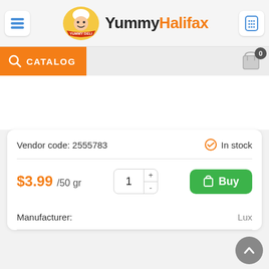[Figure (screenshot): YummyHalifax food delivery app header with menu icon, logo, brand name, and phone icon]
CATALOG
Vendor code: 2555783
In stock
$3.99 /50 gr
Manufacturer:
Lux